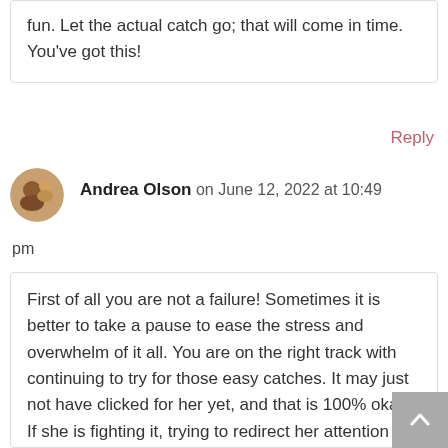fun. Let the actual catch go; that will come in time. You've got this!
Reply
Andrea Olson on June 12, 2022 at 10:49 pm
First of all you are not a failure! Sometimes it is better to take a pause to ease the stress and overwhelm of it all. You are on the right track with continuing to try for those easy catches. It may just not have clicked for her yet, and that is 100% okay. If she is fighting it, trying to redirect her attention with a toy or a book could help settle her long enough so